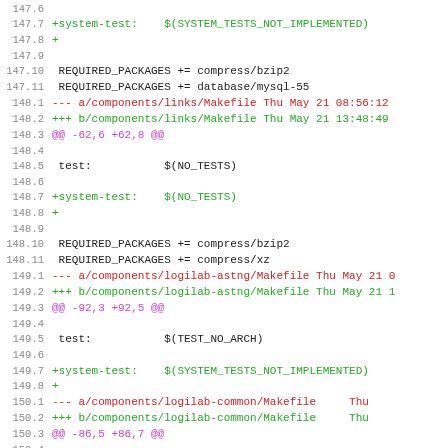Code diff showing changes to Makefile components for system-test targets and REQUIRED_PACKAGES
147.6 (blank)
147.7  +system-test:    $(SYSTEM_TESTS_NOT_IMPLEMENTED)
147.8  +
147.9 (blank)
147.10   REQUIRED_PACKAGES += compress/bzip2
147.11   REQUIRED_PACKAGES += database/mysql-55
148.1  --- a/components/links/Makefile Thu May 21 08:56:12
148.2  +++ b/components/links/Makefile Thu May 21 13:48:49
148.3  @@ -62,6 +62,8 @@
148.4 (blank)
148.5   test:           $(NO_TESTS)
148.6 (blank)
148.7  +system-test:   $(NO_TESTS)
148.8  +
148.9 (blank)
148.10   REQUIRED_PACKAGES += compress/bzip2
148.11   REQUIRED_PACKAGES += compress/xz
149.1  --- a/components/logilab-astng/Makefile Thu May 21 0
149.2  +++ b/components/logilab-astng/Makefile Thu May 21 1
149.3  @@ -92,3 +92,5 @@
149.4 (blank)
149.5   test:           $(TEST_NO_ARCH)
149.6 (blank)
149.7  +system-test:   $(SYSTEM_TESTS_NOT_IMPLEMENTED)
149.8  +
150.1  --- a/components/logilab-common/Makefile       Thu
150.2  +++ b/components/logilab-common/Makefile       Thu
150.3  @@ -86,5 +86,7 @@
150.4 (blank)
150.5   test:  $(TEST_NO_ARCH)
150.6 (blank)
150.7  +system-test:    $(SYSTEM_TESTS_NOT_IMPLEMENTED)